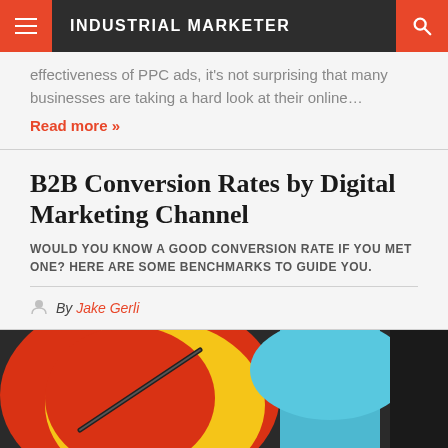INDUSTRIAL MARKETER
effectiveness of PPC ads, it's not surprising that many businesses are taking a hard look at their online…
Read more »
B2B Conversion Rates by Digital Marketing Channel
WOULD YOU KNOW A GOOD CONVERSION RATE IF YOU MET ONE? HERE ARE SOME BENCHMARKS TO GUIDE YOU.
By Jake Gerli
[Figure (photo): Colorful target/bullseye with red, yellow, and blue sections with an arrow, photographed close-up]